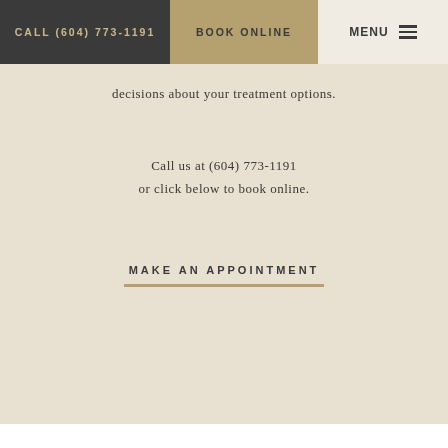CALL (604) 773-1191 | BOOK ONLINE | MENU
decisions about your treatment options.
Call us at (604) 773-1191
or click below to book online.
MAKE AN APPOINTMENT